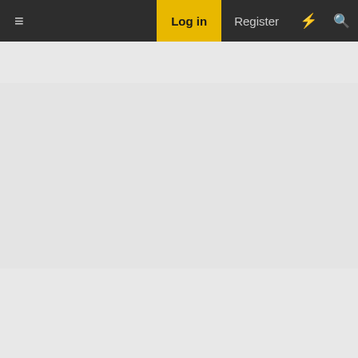≡   Log in   Register   ⚡   🔍
[Figure (other): Gray empty content area (advertisement or blank space)]
Jun 14, 2022   #427
Heyjoe4
This site uses cookies to help personalise content, tailor your experience and to keep you logged in if you register.
By continuing to use this site, you are consenting to our use of cookies.
✓ Accept   Learn more...